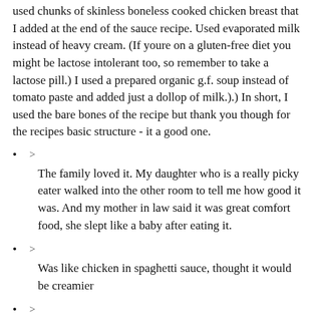used chunks of skinless boneless cooked chicken breast that I added at the end of the sauce recipe. Used evaporated milk instead of heavy cream. (If youre on a gluten-free diet you might be lactose intolerant too, so remember to take a lactose pill.) I used a prepared organic g.f. soup instead of tomato paste and added just a dollop of milk.).) In short, I used the bare bones of the recipe but thank you though for the recipes basic structure - it a good one.
> The family loved it. My daughter who is a really picky eater walked into the other room to tell me how good it was. And my mother in law said it was great comfort food, she slept like a baby after eating it.
> Was like chicken in spaghetti sauce, thought it would be creamier
> Yummy. Definitely not as spicy as I thought it was going to be.